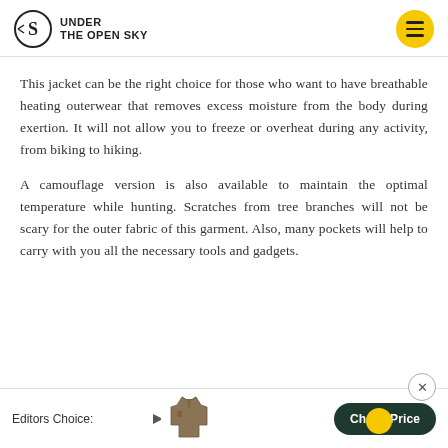UNDER THE OPEN SKY
This jacket can be the right choice for those who want to have breathable heating outerwear that removes excess moisture from the body during exertion. It will not allow you to freeze or overheat during any activity, from biking to hiking.
A camouflage version is also available to maintain the optimal temperature while hunting. Scratches from tree branches will not be scary for the outer fabric of this garment. Also, many pockets will help to carry with you all the necessary tools and gadgets.
Editors Choice: [arrow] [jacket image] Check Price